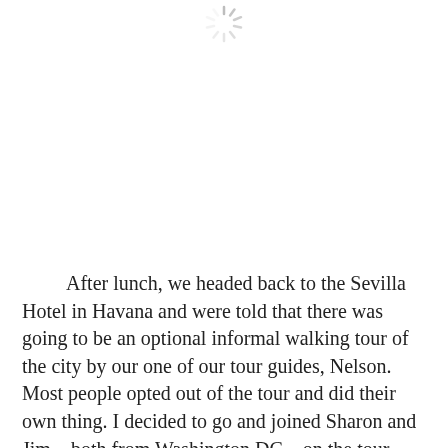[Figure (other): A loading spinner icon (sunburst/radial lines) centered near the top of the page]
After lunch, we headed back to the Sevilla Hotel in Havana and were told that there was going to be an optional informal walking tour of the city by our one of our tour guides, Nelson. Most people opted out of the tour and did their own thing. I decided to go and joined Sharon and Jim – both from Washington DC – on the tour.
    It was a nice tour and Nelson knew his way around the